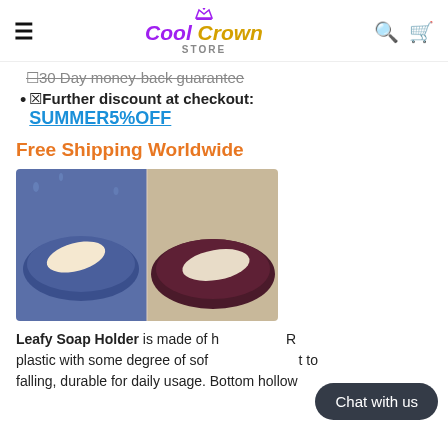Cool Crown STORE
30 Day money-back guarantee (strikethrough)
✓Further discount at checkout: SUMMER5%OFF
Free Shipping Worldwide
[Figure (photo): Two leaf-shaped soap holders, one blue and one dark red/maroon, each containing a white bar of soap, shown side by side]
Leafy Soap Holder is made of high quality plastic with some degree of softness, resistant to falling, durable for daily usage. Bottom hollow